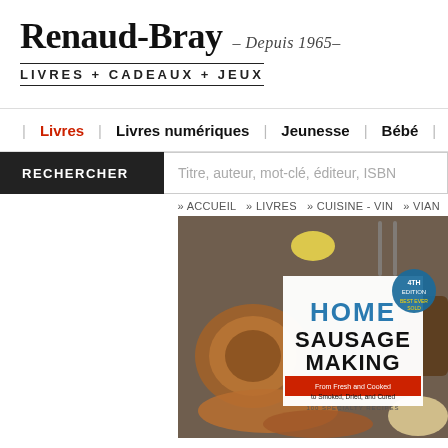Renaud-Bray – Depuis 1965–
LIVRES + CADEAUX + JEUX
Livres | Livres numériques | Jeunesse | Bébé | Jeux - Jou…
RECHERCHER — Titre, auteur, mot-clé, éditeur, ISBN
» ACCUEIL » LIVRES » CUISINE - VIN » VIAN…
[Figure (photo): Book cover of 'Home Sausage Making, 4th Edition' showing sausages and food photography, with subtitle 'From Fresh and Cooked to Smoked, Dried, and Cured – 100 Specialty Recipes']